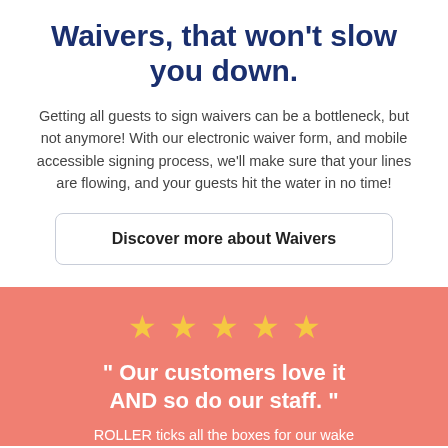Waivers, that won't slow you down.
Getting all guests to sign waivers can be a bottleneck, but not anymore! With our electronic waiver form, and mobile accessible signing process, we'll make sure that your lines are flowing, and your guests hit the water in no time!
Discover more about Waivers
[Figure (other): Five gold stars rating graphic]
" Our customers love it AND so do our staff. "
ROLLER ticks all the boxes for our wake